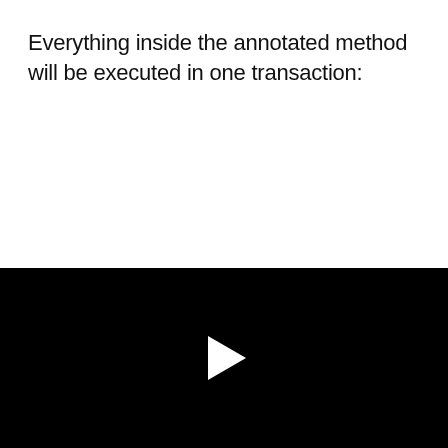Everything inside the annotated method will be executed in one transaction:
[Figure (screenshot): Black video player area with a white play button triangle in the center]